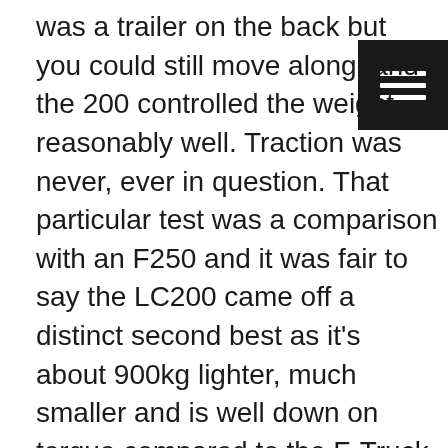was a trailer on the back but you could still move along, and the 200 controlled the weight reasonably well. Traction was never, ever in question. That particular test was a comparison with an F250 and it was fair to say the LC200 came off a distinct second best as it's about 900kg lighter, much smaller and is well down on torque compared to the F-Truck. But if you want to pull a big trailer and can't step up to a bigger vehicle then an LC200 is what you want to be looking at, particularly if you intend to travel long, remote journeys. As ever, I'd much prefer to pull a 3000kg trailer with an LC200 than one of the smaller vehicles which is rated to a maximum of 3000kg. You will too if you do a back-to-back test.